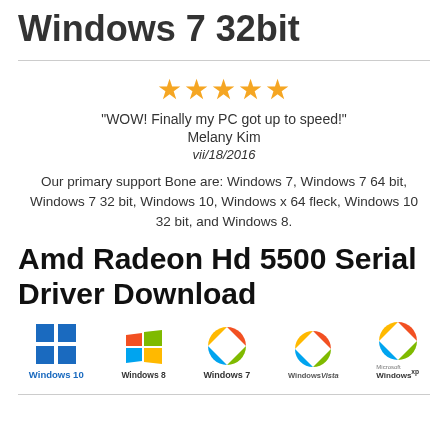Windows 7 32bit
"WOW! Finally my PC got up to speed!" Melany Kim vii/18/2016
Our primary support Bone are: Windows 7, Windows 7 64 bit, Windows 7 32 bit, Windows 10, Windows x 64 fleck, Windows 10 32 bit, and Windows 8.
Amd Radeon Hd 5500 Serial Driver Download
[Figure (logo): Windows OS logos: Windows 10, Windows 8, Windows 7, Windows Vista, Windows XP]